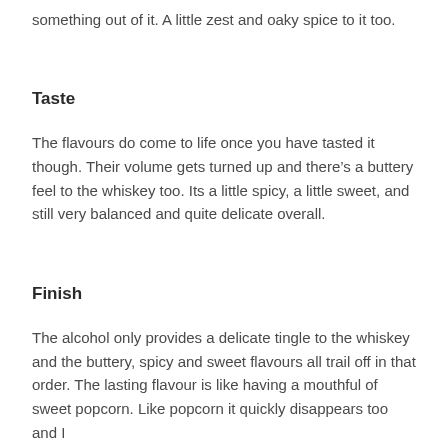something out of it. A little zest and oaky spice to it too.
Taste
The flavours do come to life once you have tasted it though. Their volume gets turned up and there’s a buttery feel to the whiskey too. Its a little spicy, a little sweet, and still very balanced and quite delicate overall.
Finish
The alcohol only provides a delicate tingle to the whiskey and the buttery, spicy and sweet flavours all trail off in that order. The lasting flavour is like having a mouthful of sweet popcorn. Like popcorn it quickly disappears too and I